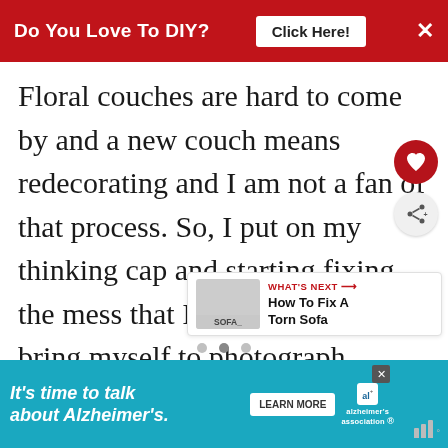Do You Love To DIY? Click Here!
Floral couches are hard to come by and a new couch means redecorating and I am not a fan of that process. So, I put on my thinking cap and starting fixing the mess that I couldn't even bring myself to photograph.
[Figure (infographic): What's Next arrow with thumbnail of sofa, title: How To Fix A Torn Sofa]
[Figure (infographic): Advertisement banner: It's time to talk about Alzheimer's. Learn More. Alzheimer's association logo.]